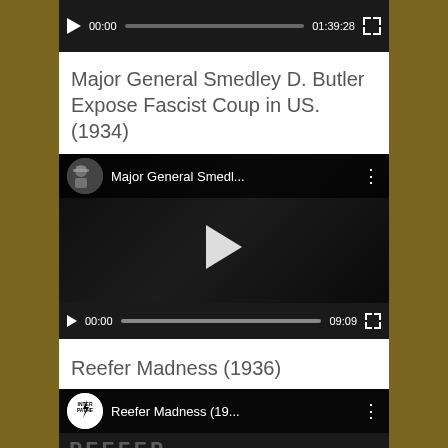[Figure (screenshot): Video player bar showing play button, 00:00 timestamp, progress bar, 01:39:28 duration, fullscreen button on dark background]
Major General Smedley D. Butler Expose Fascist Coup in US. (1934)
[Figure (screenshot): YouTube video embed for 'Major General Smedl...' showing video thumbnail with military figures, play button overlay, avatar, and controls showing 00:00 / 09:09]
Reefer Madness (1936)
[Figure (screenshot): YouTube video embed for 'Reefer Madness (19...' with Inter Pathe logo avatar, partial thumbnail visible]